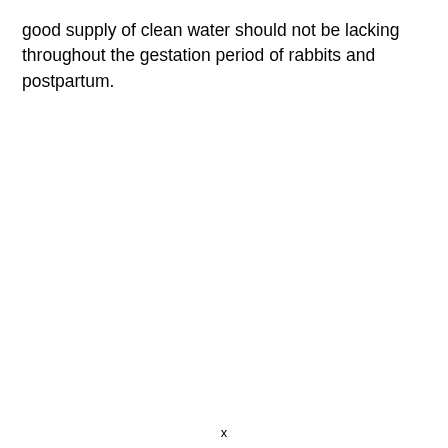good supply of clean water should not be lacking throughout the gestation period of rabbits and postpartum.
x